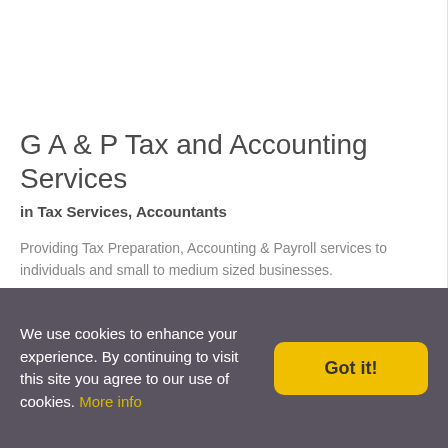[Figure (photo): Placeholder image area at top of listing]
G A & P Tax and Accounting Services
in Tax Services, Accountants
Providing Tax Preparation, Accounting & Payroll services to individuals and small to medium sized businesses.
5575 S Sycamore St., Suite 210
Littleton, Colorado 80120
Is this your listing?
Bookmark this
We use cookies to enhance your experience. By continuing to visit this site you agree to our use of cookies. More info